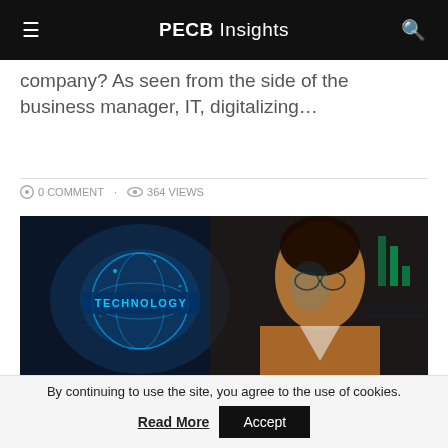PECB Insights
company? As seen from the side of the business manager, IT, digitalizing…
0 COMMENT · 364 VIEWS
[Figure (photo): A woman in a blazer looking at digital technology screens with the word TECHNOLOGY overlaid on a holographic globe display.]
Building Trust in Technology Using
By continuing to use the site, you agree to the use of cookies. Read More Accept